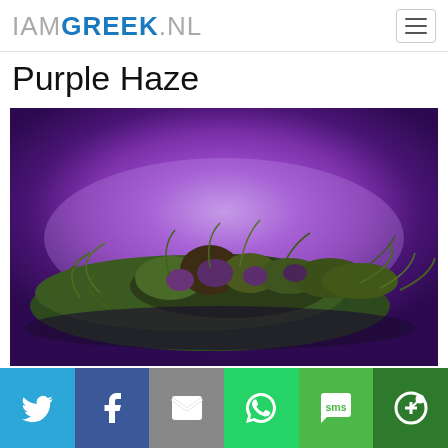IAMGREEK.NL
Purple Haze
[Figure (photo): Close-up photo of a Purple Haze cannabis bud resting on a purple surface under purple lighting, showing green and dark purple buds with visible trichomes and thin leaves.]
Social share bar with Twitter, Facebook, Email, WhatsApp, SMS, and More buttons